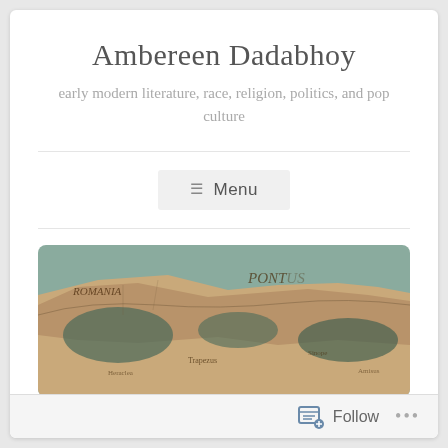Ambereen Dadabhoy
early modern literature, race, religion, politics, and pop culture
≡ Menu
[Figure (photo): An old historical map showing regions including 'ROMANIA' and 'PONTUS', with geographic features, coastlines, and place names in an antique cartographic style.]
Follow ...